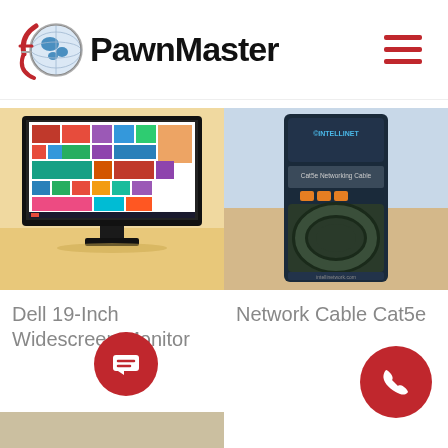PawnMaster
[Figure (photo): Dell 19-Inch Widescreen Monitor on a wooden desk showing Windows 8 style tiled interface on screen]
[Figure (photo): Intellinet Cat5e Networking Cable packaged in a dark blue retail package on a desk in a store]
Dell 19-Inch Widescreen Monitor
Network Cable Cat5e
[Figure (photo): Partial bottom image strip (cropped)]